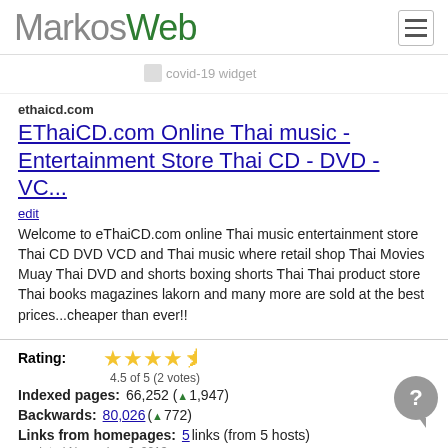MarkosWeb
[Figure (other): covid-19 widget placeholder image]
ethaicd.com
EThaiCD.com Online Thai music - Entertainment Store Thai CD - DVD - VC...
edit
Welcome to eThaiCD.com online Thai music entertainment store Thai CD DVD VCD and Thai music where retail shop Thai Movies Muay Thai DVD and shorts boxing shorts Thai Thai product store Thai books magazines lakorn and many more are sold at the best prices...cheaper than ever!!
Rating: 4.5 of 5 (2 votes)
Indexed pages: 66,252 (▲1,947)
Backwards: 80,026 (▲772)
Links from homepages: 5 links (from 5 hosts) updated November 6, 2013
Homepage links: internal 215 external 5